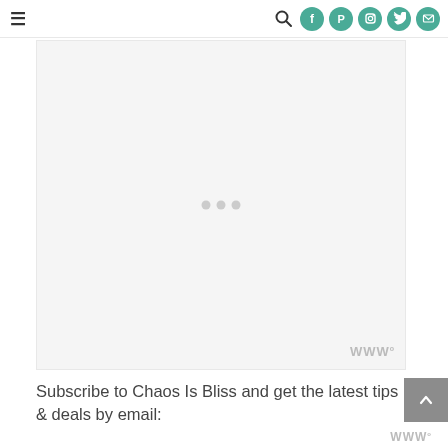≡ [search] [facebook] [pinterest] [instagram] [twitter] [email]
[Figure (other): Advertisement placeholder area with light gray background and three loading dots in center. Small Mediavine logo watermark in bottom right corner.]
Subscribe to Chaos Is Bliss and get the latest tips & deals by email: